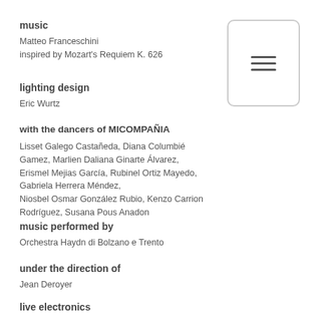music
Matteo Franceschini
inspired by Mozart's Requiem K. 626
[Figure (other): Menu icon box with three horizontal lines (hamburger icon) inside a rounded rectangle border]
lighting design
Eric Wurtz
with the dancers of MICOMPAÑIA
Lisset Galego Castañeda, Diana Columbié Gamez, Marlien Daliana Ginarte Álvarez, Erismel Mejias García, Rubinel Ortiz Mayedo, Gabriela Herrera Méndez,
Niosbel Osmar González Rubio, Kenzo Carrion Rodríguez, Susana Pous Anadon
music performed by
Orchestra Haydn di Bolzano e Trento
under the direction of
Jean Deroyer
live electronics
Tovel